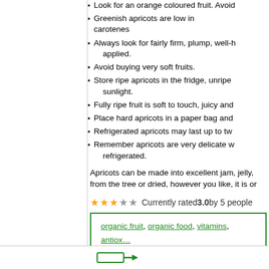Look for an orange coloured fruit. Avoid...
Greenish apricots are low in carotenes...
Always look for fairly firm, plump, well-... applied.
Avoid buying very soft fruits.
Store ripe apricots in the fridge, unripe... sunlight.
Fully ripe fruit is soft to touch, juicy and...
Place hard apricots in a paper bag and...
Refrigerated apricots may last up to tw...
Remember apricots are very delicate w... refrigerated.
Apricots can be made into excellent jam, jelly,... from the tree or dried, however you like, it is or...
Currently rated 3.0 by 5 people
organic fruit, organic food, vitamins, antiox... alzheimer's, iron, nutrition, health
Actions: E-mail | Trackback |